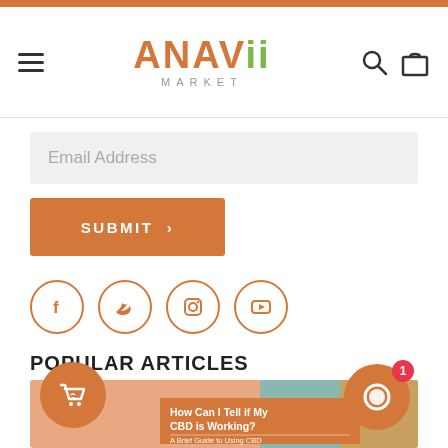ANAVII MARKET
Email Address
SUBMIT >
[Figure (illustration): Social media icons: Facebook, Twitter, Instagram, YouTube — orange circle outlines]
POPULAR ARTICLES
[Figure (photo): Article thumbnail showing beach/summer scene with orange promotional text overlay: 'How Can I Tell if My CBD is Working? A Brief Guide to Using CBD']
[Figure (illustration): Floating orange shopping cart icon (bottom-left) and floating orange chat icon with badge showing 1 (bottom-right)]